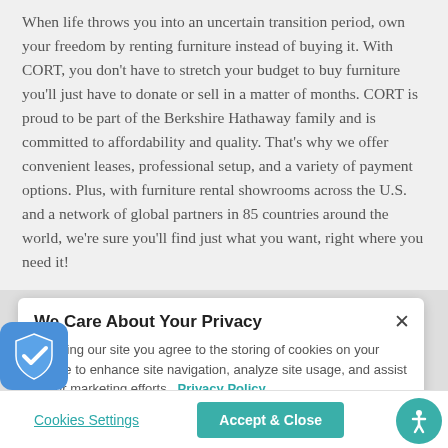When life throws you into an uncertain transition period, own your freedom by renting furniture instead of buying it. With CORT, you don't have to stretch your budget to buy furniture you'll just have to donate or sell in a matter of months. CORT is proud to be part of the Berkshire Hathaway family and is committed to affordability and quality. That's why we offer convenient leases, professional setup, and a variety of payment options. Plus, with furniture rental showrooms across the U.S. and a network of global partners in 85 countries around the world, we're sure you'll find just what you want, right where you need it!
Live Comfortably! Rent Furniture Near
We Care About Your Privacy
By using our site you agree to the storing of cookies on your device to enhance site navigation, analyze site usage, and assist in our marketing efforts.  Privacy Policy
Cookies Settings
Accept & Close